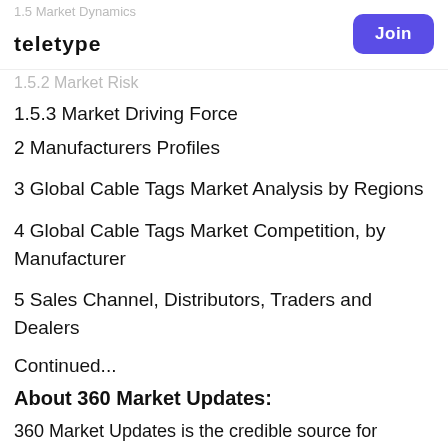1.5 Market Dynamics
teletype | Join
1.5.2 Market Risk
1.5.3 Market Driving Force
2 Manufacturers Profiles
3 Global Cable Tags Market Analysis by Regions
4 Global Cable Tags Market Competition, by Manufacturer
5 Sales Channel, Distributors, Traders and Dealers
Continued...
About 360 Market Updates:
360 Market Updates is the credible source for gaining the market research reports that will exponentially accelerate your business. We are among the leading report resellers in the business.